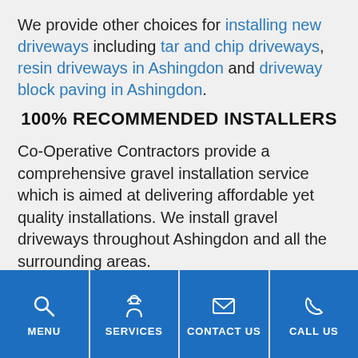We provide other choices for installing new driveways including tar and chip driveways, resin driveways in Ashingdon and driveway block paving in Ashingdon.
100% RECOMMENDED INSTALLERS
Co-Operative Contractors provide a comprehensive gravel installation service which is aimed at delivering affordable yet quality installations. We install gravel driveways throughout Ashingdon and all the surrounding areas.
We provide f...
MENU | SERVICES | CONTACT US | CALL US